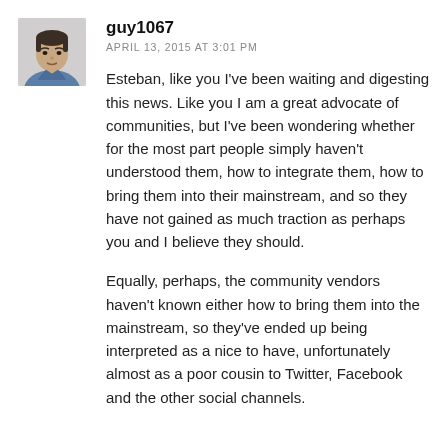[Figure (photo): Avatar photo of a man wearing a blue shirt, appearing as a small profile picture thumbnail]
guy1067
APRIL 13, 2015 AT 3:01 PM
Esteban, like you I've been waiting and digesting this news. Like you I am a great advocate of communities, but I've been wondering whether for the most part people simply haven't understood them, how to integrate them, how to bring them into their mainstream, and so they have not gained as much traction as perhaps you and I believe they should.
Equally, perhaps, the community vendors haven't known either how to bring them into the mainstream, so they've ended up being interpreted as a nice to have, unfortunately almost as a poor cousin to Twitter, Facebook and the other social channels.